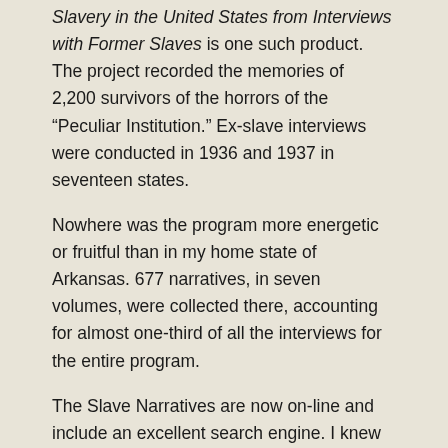Slavery in the United States from Interviews with Former Slaves is one such product.  The project recorded the memories of 2,200 survivors of the horrors of the “Peculiar Institution.”  Ex-slave interviews were conducted in 1936 and 1937 in seventeen states.
Nowhere was the program more energetic or fruitful than in my home state of Arkansas.  677 narratives, in seven volumes, were collected there, accounting for almost one-third of all the interviews for the entire program.
The Slave Narratives are now on-line and include an excellent search engine.  I knew that Dr. Hazen, a real life character in my story, owned slaves.  On the off chance, I searched each volume for “Hazen.”  I was astounded to find not one, but four